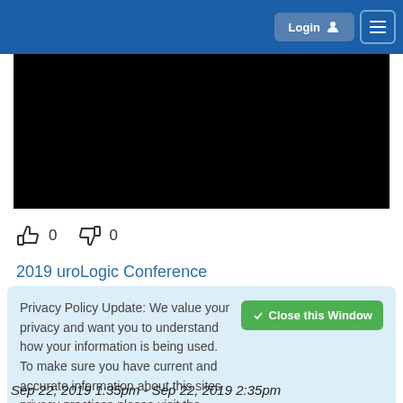Login  [menu]
[Figure (screenshot): Black video player area]
👍 0  👎 0
2019 uroLogic Conference
☆ 243  Treatment of SUI in
Privacy Policy Update: We value your privacy and want you to understand how your information is being used. To make sure you have current and accurate information about this sites privacy practices please visit the privacy center by clicking here.
Sep 22, 2019 1:35pm - Sep 22, 2019 2:35pm